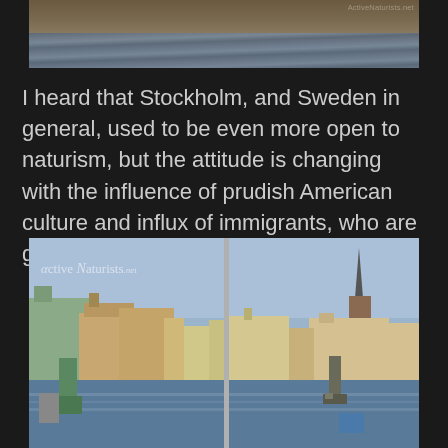[Figure (photo): Partial view of water surface, cropped photo at top of page with ActiveNaturists.net watermark]
I heard that Stockholm, and Sweden in general, used to be even more open to naturism, but the attitude is changing with the influence of prudish American culture and influx of immigrants, who are generally more conservative.
[Figure (photo): Stockholm waterfront cityscape with statues in foreground, historic buildings and church spire across the water, ActiveNaturists.net watermark in upper left]